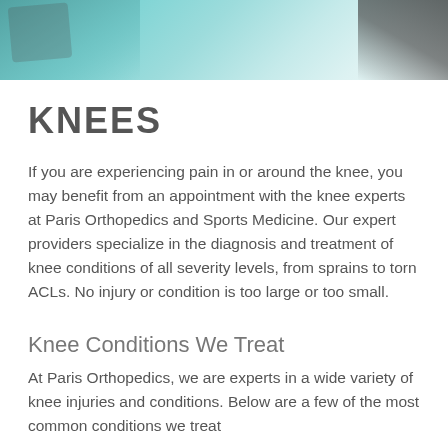[Figure (photo): Medical/clinical photo banner showing teal/green surgical context and dark object on right side]
KNEES
If you are experiencing pain in or around the knee, you may benefit from an appointment with the knee experts at Paris Orthopedics and Sports Medicine. Our expert providers specialize in the diagnosis and treatment of knee conditions of all severity levels, from sprains to torn ACLs. No injury or condition is too large or too small.
Knee Conditions We Treat
At Paris Orthopedics, we are experts in a wide variety of knee injuries and conditions. Below are a few of the most common conditions we treat